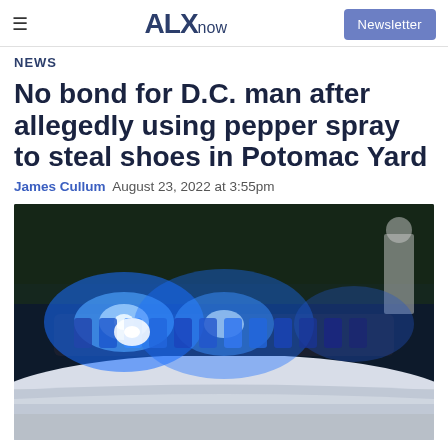ALXnow | Newsletter
NEWS
No bond for D.C. man after allegedly using pepper spray to steal shoes in Potomac Yard
James Cullum  August 23, 2022 at 3:55pm
[Figure (photo): Police car roof with bright blue flashing emergency lights illuminated at night, close-up shot.]